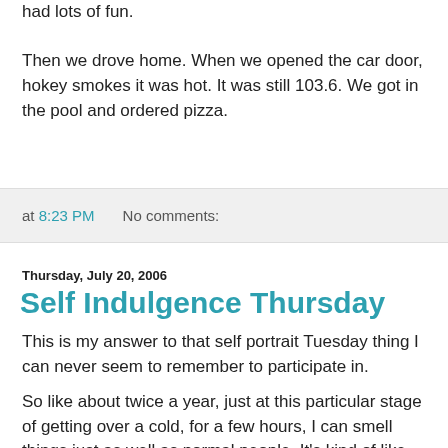had lots of fun.
Then we drove home. When we opened the car door, hokey smokes it was hot. It was still 103.6. We got in the pool and ordered pizza.
at 8:23 PM   No comments:
Thursday, July 20, 2006
Self Indulgence Thursday
This is my answer to that self portrait Tuesday thing I can never seem to remember to participate in.
So like about twice a year, just at this particular stage of getting over a cold, for a few hours, I can smell things just as well as normal people. It's kind of like putting on you glasses (for you laser radial keratotomy surgery type people glasses are the things you once spent all that money for so people would say , "cool glasses" but you not quite so secretly hated the...